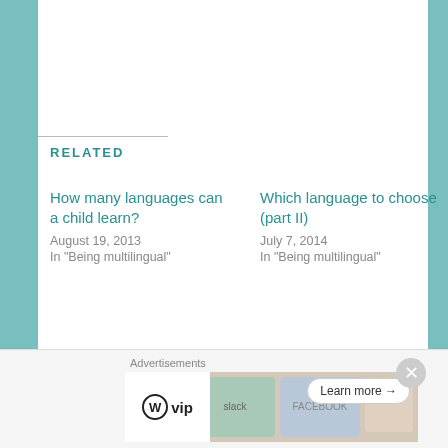RELATED
How many languages can a child learn?
August 19, 2013
In "Being multilingual"
Which language to choose (part II)
July 7, 2014
In "Being multilingual"
8 things to say to a bilingual
May 7, 2014
In "Being expat"
Categories: Being multilingual, Multilingual children,
[Figure (screenshot): Advertisements banner with WordPress VIP logo, colorful book/app icons background, and a 'Learn more →' button]